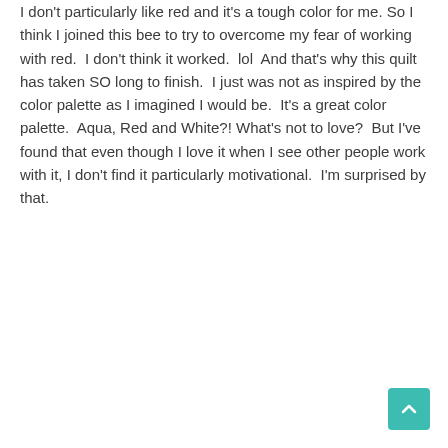I don't particularly like red and it's a tough color for me. So I think I joined this bee to try to overcome my fear of working with red.  I don't think it worked.  lol  And that's why this quilt has taken SO long to finish.  I just was not as inspired by the color palette as I imagined I would be.  It's a great color palette.  Aqua, Red and White?! What's not to love?  But I've found that even though I love it when I see other people work with it, I don't find it particularly motivational.  I'm surprised by that.